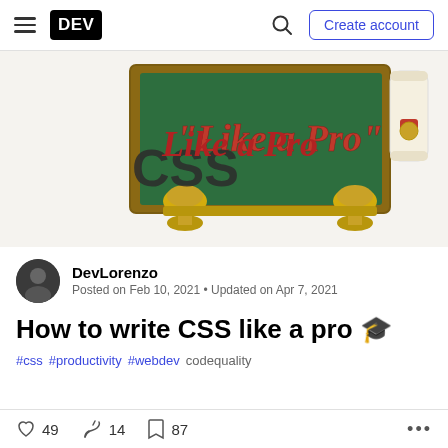DEV | Create account
[Figure (illustration): Cover image showing a chalkboard with 'Like a Pro' in red text, CSS logo in dark color, diploma scroll, and trophy cups on a golden stand]
DevLorenzo
Posted on Feb 10, 2021 • Updated on Apr 7, 2021
How to write CSS like a pro 🎓
#css #productivity #webdev codequality
♡ 49   🔥 14   🔖 87   ...